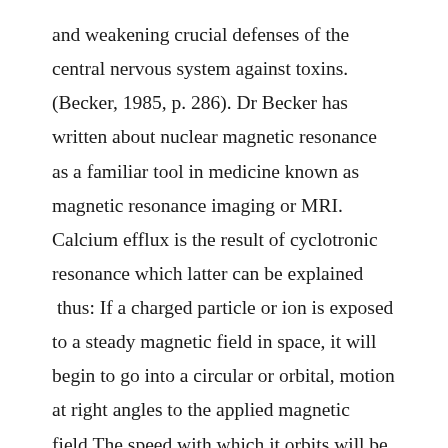and weakening crucial defenses of the central nervous system against toxins. (Becker, 1985, p. 286). Dr Becker has written about nuclear magnetic resonance as a familiar tool in medicine known as magnetic resonance imaging or MRI. Calcium efflux is the result of cyclotronic resonance which latter can be explained  thus: If a charged particle or ion is exposed to a steady magnetic field in space, it will begin to go into a circular or orbital, motion at right angles to the applied magnetic field.The speed with which it orbits will be determined by the ratio between the charge and the mass of the particle and by the strength of the magnetic field. (Becker, 1990,p.235) The implications of this for wide scale aggression by using a combination of radar based energy and the use of nuclear resonating are beyond the scope of the writer but appear to be worth the